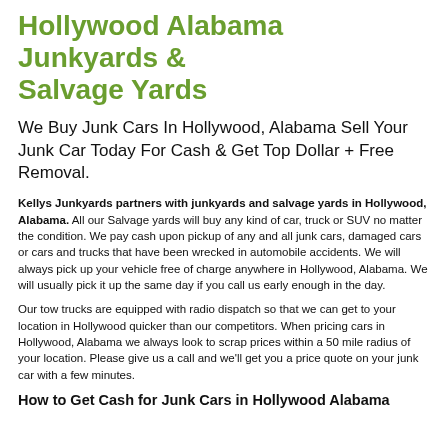Hollywood Alabama Junkyards & Salvage Yards
We Buy Junk Cars In Hollywood, Alabama Sell Your Junk Car Today For Cash & Get Top Dollar + Free Removal.
Kellys Junkyards partners with junkyards and salvage yards in Hollywood, Alabama. All our Salvage yards will buy any kind of car, truck or SUV no matter the condition. We pay cash upon pickup of any and all junk cars, damaged cars or cars and trucks that have been wrecked in automobile accidents. We will always pick up your vehicle free of charge anywhere in Hollywood, Alabama. We will usually pick it up the same day if you call us early enough in the day.
Our tow trucks are equipped with radio dispatch so that we can get to your location in Hollywood quicker than our competitors. When pricing cars in Hollywood, Alabama we always look to scrap prices within a 50 mile radius of your location. Please give us a call and we'll get you a price quote on your junk car with a few minutes.
How to Get Cash for Junk Cars in Hollywood Alabama